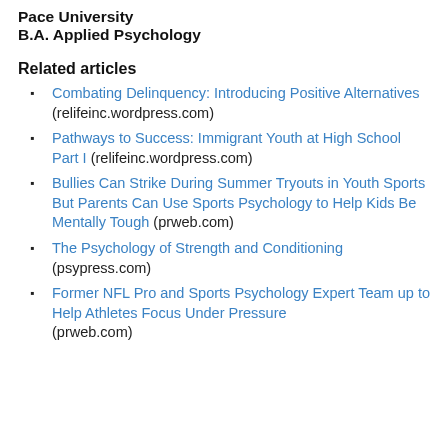Pace University
B.A. Applied Psychology
Related articles
Combating Delinquency: Introducing Positive Alternatives (relifeinc.wordpress.com)
Pathways to Success: Immigrant Youth at High School Part I (relifeinc.wordpress.com)
Bullies Can Strike During Summer Tryouts in Youth Sports But Parents Can Use Sports Psychology to Help Kids Be Mentally Tough (prweb.com)
The Psychology of Strength and Conditioning (psypress.com)
Former NFL Pro and Sports Psychology Expert Team up to Help Athletes Focus Under Pressure (prweb.com)